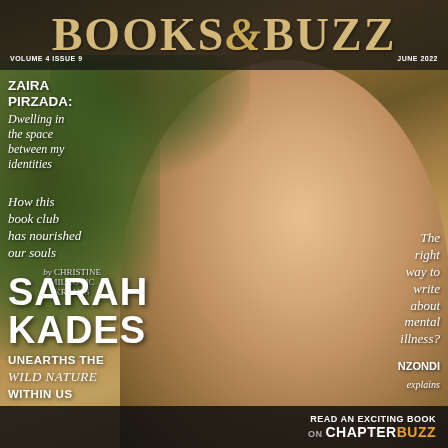BOOKS&BUZZ
VOLUME 4 ISSUE 9   JUNE 2022
[Figure (photo): Magazine cover photo of a smiling woman with short reddish-brown hair and black rectangular glasses, wearing a white top and a stone pendant necklace, posed against a warm golden-brown background with green foliage.]
ZAIRA PIRZADA: Dwelling in the space between my identities
How this book club has nourished our souls by CHRISTINE MILKOVIC KRAUSS
SARAH KADES
UNEARTHS THE WILD NATURE WITHIN US
The right way to write about mental illness? NZONDI explains
READ AN EXCITING BOOK ON ChapterBuzz